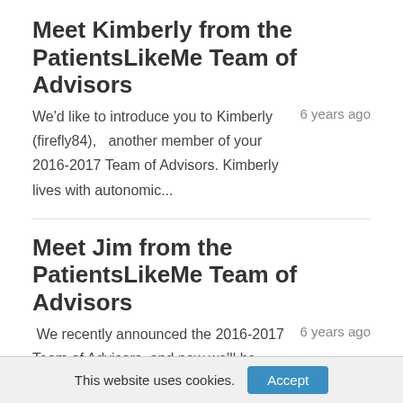Meet Kimberly from the PatientsLikeMe Team of Advisors
We'd like to introduce you to Kimberly (firefly84), another member of your 2016-2017 Team of Advisors. Kimberly lives with autonomic...
6 years ago
Meet Jim from the PatientsLikeMe Team of Advisors
We recently announced the 2016-2017 Team of Advisors, and now we'll be introducing each member so you can get to...
6 years ago
PatientsLikeMe Welcomes Next Patient
This website uses cookies.